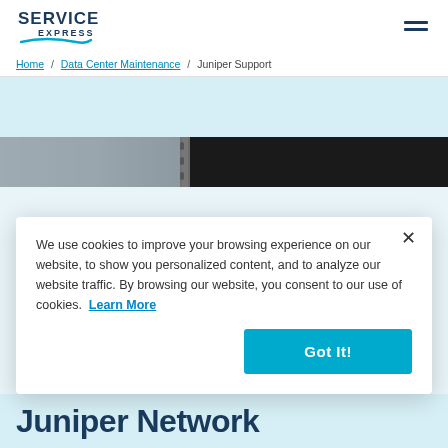[Figure (logo): Service Express logo with blue swoosh]
Home / Data Center Maintenance / Juniper Support
[Figure (photo): Data center server rack image strip]
We use cookies to improve your browsing experience on our website, to show you personalized content, and to analyze our website traffic. By browsing our website, you consent to our use of cookies. Learn More
Juniper Network